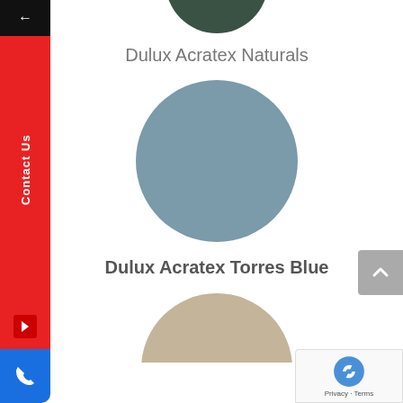[Figure (illustration): Dark forest green color circle swatch, partially cropped at top]
Dulux Acratex Naturals
[Figure (illustration): Muted slate blue/grey color circle swatch for Torres Blue]
Dulux Acratex Torres Blue
[Figure (illustration): Light beige/tan color circle swatch, partially cropped at bottom]
[Figure (screenshot): Left sidebar UI with back arrow (black), Contact Us (red), arrow button (red), phone icon (blue) — website navigation overlay]
[Figure (screenshot): Grey up/scroll button on right side]
[Figure (screenshot): Google reCAPTCHA badge with Privacy and Terms links]